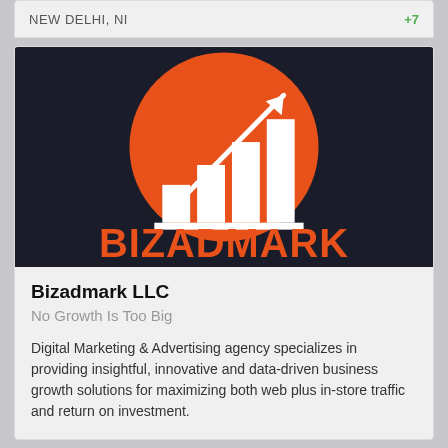NEW DELHI, NI
[Figure (logo): Bizadmark LLC logo: dark background with orange circle containing white bar chart and upward arrow, with BIZADMARK text in orange below]
Bizadmark LLC
No Growth Is Too Big
Digital Marketing & Advertising agency specializes in providing insightful, innovative and data-driven business growth solutions for maximizing both web plus in-store traffic and return on investment.